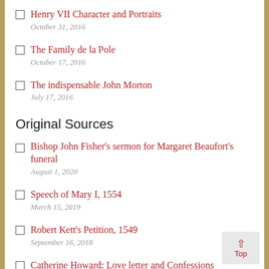Henry VII Character and Portraits
October 31, 2016
The Family de la Pole
October 17, 2016
The indispensable John Morton
July 17, 2016
Original Sources
Bishop John Fisher's sermon for Margaret Beaufort's funeral
August 1, 2020
Speech of Mary I, 1554
March 15, 2019
Robert Kett's Petition, 1549
September 16, 2018
Catherine Howard: Love letter and Confessions
April 2, 2018